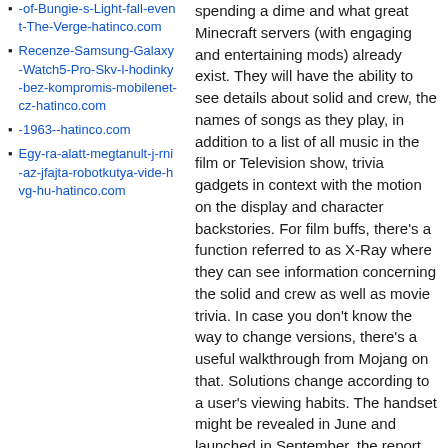-of-Bungie-s-Light-fall-event-The-Verge-hatinco.com
Recenze-Samsung-Galaxy-Watch5-Pro-Skv-l-hodinky-bez-kompromis-mobilenet-cz-hatinco.com
-1963--hatinco.com
Egy-ra-alatt-megtanult-j-rni-az-jfajta-robotkutya-vide-hvg-hu-hatinco.com
spending a dime and what great Minecraft servers (with engaging and entertaining mods) already exist. They will have the ability to see details about solid and crew, the names of songs as they play, in addition to a list of all music in the film or Television show, trivia gadgets in context with the motion on the display and character backstories. For film buffs, there's a function referred to as X-Ray where they can see information concerning the solid and crew as well as movie trivia. In case you don't know the way to change versions, there's a useful walkthrough from Mojang on that. Solutions change according to a user's viewing habits. The handset might be revealed in June and launched in September, the report claims. Recreation on: The controller needed to play video games will be offered individually to the Fire Tv box, and will price £34.Ninety nine every.</p><p>The typical cost of downloading a recreation is £1.07. https://minecraft-servers.biz/ Whereas I was unmoved